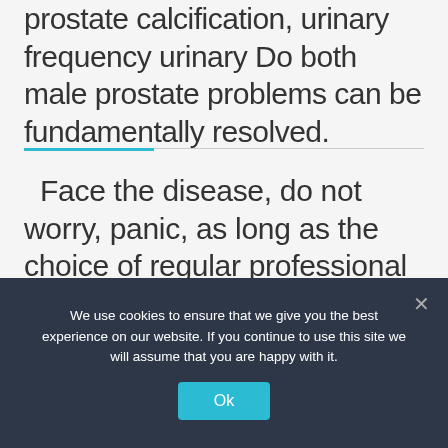prostate calcification, urinary frequency urinary Do both male prostate problems can be fundamentally resolved.
Face the disease, do not worry, panic, as long as the choice of regular professional male hospital, according to the patient's own situation and the characteristics of the disease, the combination of preventive care and clinical treatment, while maintaining optimism, establish
We use cookies to ensure that we give you the best experience on our website. If you continue to use this site we will assume that you are happy with it.